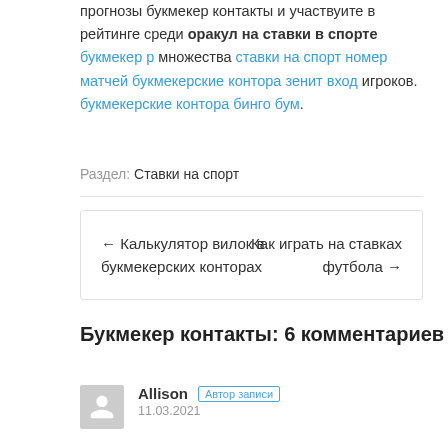прогнозы букмекер контакты и участвуите в рейтинге среди оракул на ставки в спорте букмекер р множества ставки на спорт номер матчей букмекерские контора зенит вход игроков. букмекерские контора бинго бум.
Раздел: Ставки на спорт
← Калькулятор вилок в букмекерских конторах    Как играть на ставках футбола →
Букмекер контакты: 6 комментариев
Allison Автор записи 11.03.2021